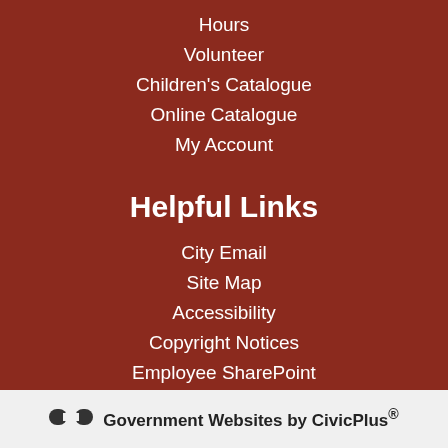Hours
Volunteer
Children's Catalogue
Online Catalogue
My Account
Helpful Links
City Email
Site Map
Accessibility
Copyright Notices
Employee SharePoint
Government Websites by CivicPlus®